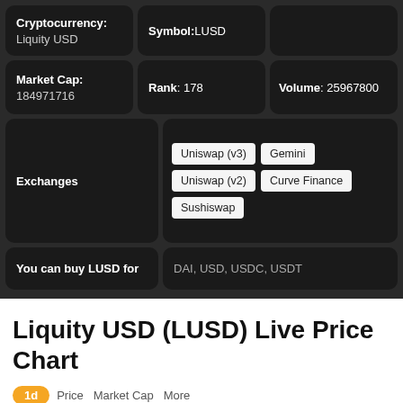Cryptocurrency: Liquity USD
Symbol: LUSD
Market Cap: 184971716
Rank: 178
Volume: 25967800
Exchanges: Uniswap (v3), Gemini, Uniswap (v2), Curve Finance, Sushiswap
You can buy LUSD for: DAI, USD, USDC, USDT
Liquity USD (LUSD) Live Price Chart
1d  Price  Market Cap  More